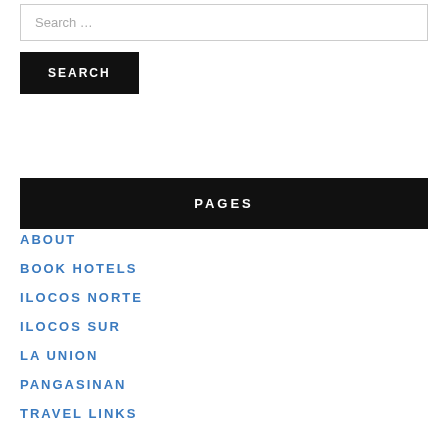Search …
SEARCH
PAGES
ABOUT
BOOK HOTELS
ILOCOS NORTE
ILOCOS SUR
LA UNION
PANGASINAN
TRAVEL LINKS